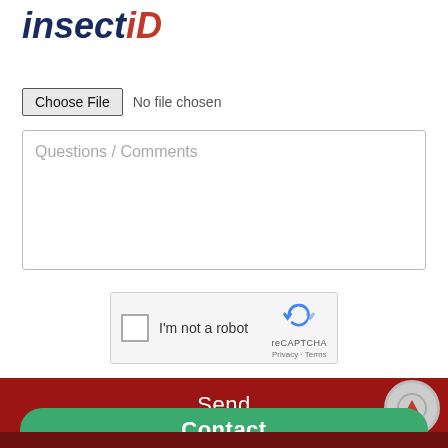insectID
[Figure (screenshot): File chooser UI: 'Choose File' button with 'No file chosen' text]
[Figure (screenshot): Text area with placeholder text 'Questions / Comments']
[Figure (screenshot): reCAPTCHA widget with checkbox 'I'm not a robot', reCAPTCHA logo, Privacy and Terms links]
Send
Contact